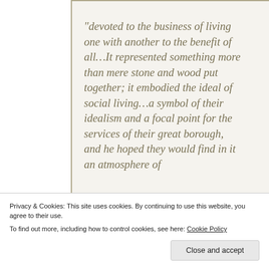“devoted to the business of living one with another to the benefit of all…It represented something more than mere stone and wood put together; it embodied the ideal of social living…a symbol of their idealism and a focal point for the services of their great borough, and he hoped they would find in it an atmosphere of
Privacy & Cookies: This site uses cookies. By continuing to use this website, you agree to their use.
To find out more, including how to control cookies, see here: Cookie Policy
Close and accept
That’s an ideal of local governance that we would do